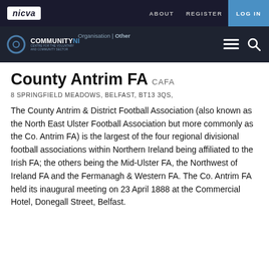nicva | ABOUT  REGISTER  LOG IN
[Figure (logo): Community NI logo with circular icon and text 'COMMUNITYNI / CENTRE FOR THE VOLUNTARY AND COMMUNITY SECTOR']
Organisation | Other
County Antrim FA CAFA
8 SPRINGFIELD MEADOWS, BELFAST, BT13 3QS,
The County Antrim & District Football Association (also known as the North East Ulster Football Association but more commonly as the Co. Antrim FA) is the largest of the four regional divisional football associations within Northern Ireland being affiliated to the Irish FA; the others being the Mid-Ulster FA, the Northwest of Ireland FA and the Fermanagh & Western FA. The Co. Antrim FA held its inaugural meeting on 23 April 1888 at the Commercial Hotel, Donegall Street, Belfast.